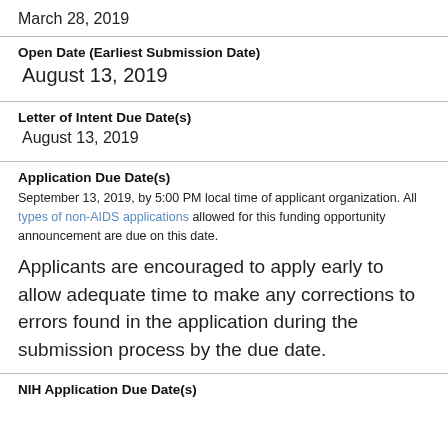March 28, 2019
Open Date (Earliest Submission Date)
August 13, 2019
Letter of Intent Due Date(s)
August 13, 2019
Application Due Date(s)
September 13, 2019, by 5:00 PM local time of applicant organization. All types of non-AIDS applications allowed for this funding opportunity announcement are due on this date.
Applicants are encouraged to apply early to allow adequate time to make any corrections to errors found in the application during the submission process by the due date.
NIH Application Due Date(s)